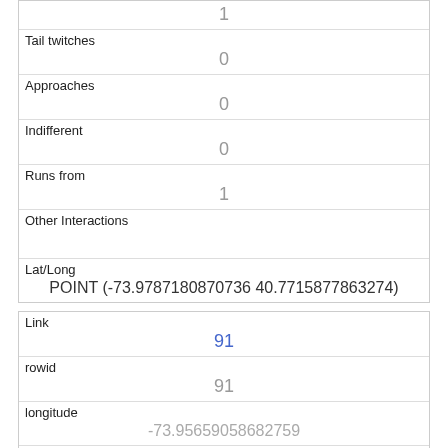| 1 |
| Tail twitches | 0 |
| Approaches | 0 |
| Indifferent | 0 |
| Runs from | 1 |
| Other Interactions |  |
| Lat/Long | POINT (-73.9787180870736 40.7715877863274) |
| Link | 91 |
| rowid | 91 |
| longitude | -73.95659058682759 |
| latitude |  |